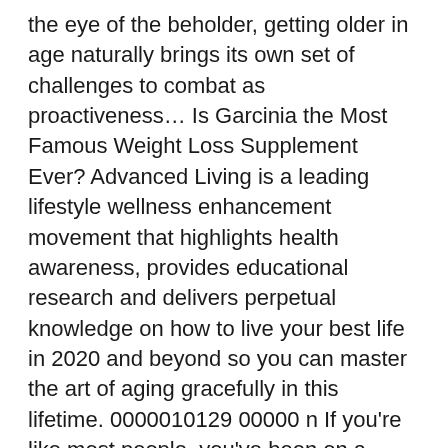the eye of the beholder, getting older in age naturally brings its own set of challenges to combat as proactiveness... Is Garcinia the Most Famous Weight Loss Supplement Ever? Advanced Living is a leading lifestyle wellness enhancement movement that highlights health awareness, provides educational research and delivers perpetual knowledge on how to live your best life in 2020 and beyond so you can master the art of aging gracefully in this lifetime. 0000010129 00000 n If you're like most people, you've been on a million weight loss diets, from Weight Watchers and Atkins to South Beach and celeb diets. Is The Mediterranean Diet worth the price? Easy Mediterranean Muesli (7 Mins, High-Protein, Customisable), Mediterranean Roasted Vegetables (25 Min, Gluten Free, Vegan), Maltese Kapunata (40 Mins, Stewed Vegetable Dish), Moroccan Chicken with Sweet Potato Mash & Roasted Veggies (Gluten-Free), 15g / 2 tbsp walnuts, toasted and chopped. We all need an occasional overhaul to maintain our health when we don't have the